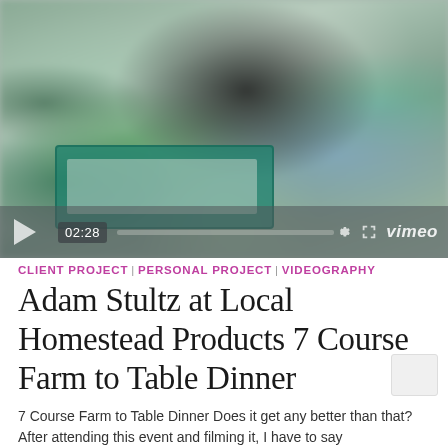[Figure (screenshot): Blurred video thumbnail showing people at an outdoor farm-to-table dinner event. A Vimeo video player overlay is visible at the bottom showing timestamp 02:28, a play button, progress bar, gear icon, expand icon, and the Vimeo wordmark.]
CLIENT PROJECT | PERSONAL PROJECT | VIDEOGRAPHY
Adam Stultz at Local Homestead Products 7 Course Farm to Table Dinner
7 Course Farm to Table Dinner Does it get any better than that? After attending this event and filming it, I have to say...